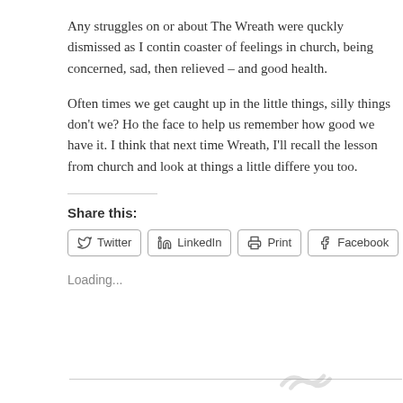Any struggles on or about The Wreath were quckly dismissed as I contin coaster of feelings in church, being concerned, sad, then relieved – and good health.
Often times we get caught up in the little things, silly things don't we? Ho the face to help us remember how good we have it. I think that next time Wreath, I'll recall the lesson from church and look at things a little differe you too.
Share this:
Twitter
LinkedIn
Print
Facebook
Email
Loading...